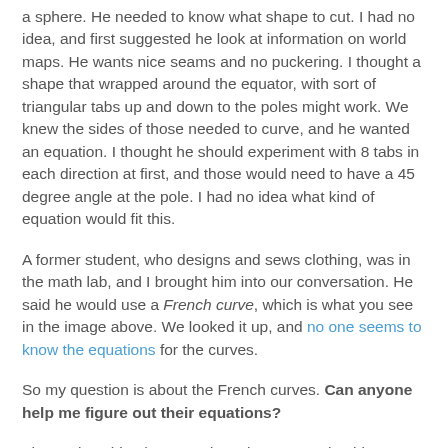a sphere. He needed to know what shape to cut. I had no idea, and first suggested he look at information on world maps. He wants nice seams and no puckering. I thought a shape that wrapped around the equator, with sort of triangular tabs up and down to the poles might work. We knew the sides of those needed to curve, and he wanted an equation. I thought he should experiment with 8 tabs in each direction at first, and those would need to have a 45 degree angle at the pole. I had no idea what kind of equation would fit this.
A former student, who designs and sews clothing, was in the math lab, and I brought him into our conversation. He said he would use a French curve, which is what you see in the image above. We looked it up, and no one seems to know the equations for the curves.
So my question is about the French curves. Can anyone help me figure out their equations?
The coolest thing happened as I began to write this post. I was trying to sketch my pattern idea freehand, and I'm a